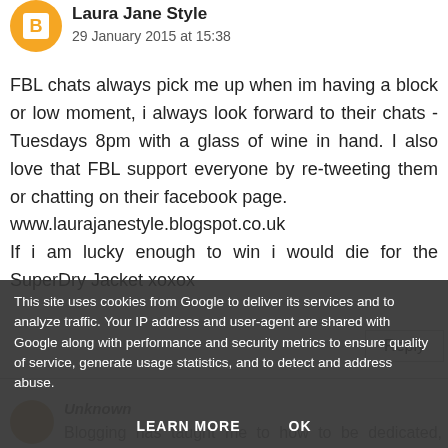Laura Jane Style
29 January 2015 at 15:38
FBL chats always pick me up when im having a block or low moment, i always look forward to their chats - Tuesdays 8pm with a glass of wine in hand. I also love that FBL support everyone by re-tweeting them or chatting on their facebook page.
www.laurajanestyle.blogspot.co.uk
If i am lucky enough to win i would die for the SuperDry Jacket xoxox
Reply
Unknown
Blogging has taught me to how to be dedicated, motivated and persistent. It's also give me some...
This site uses cookies from Google to deliver its services and to analyze traffic. Your IP address and user-agent are shared with Google along with performance and security metrics to ensure quality of service, generate usage statistics, and to detect and address abuse.
LEARN MORE   OK